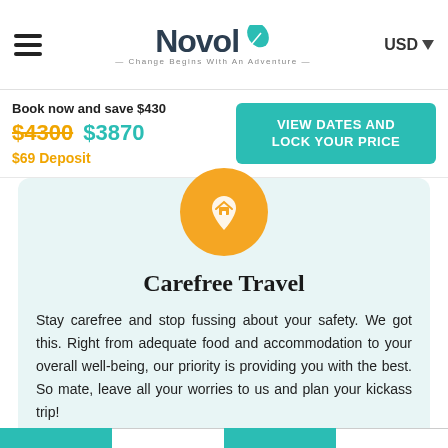Novolo — Change Begins With An Adventure | USD
Book now and save $430
$4300 $3870
$69 Deposit
[Figure (illustration): Orange circular icon with a house/location pin symbol inside]
Carefree Travel
Stay carefree and stop fussing about your safety. We got this. Right from adequate food and accommodation to your overall well-being, our priority is providing you with the best. So mate, leave all your worries to us and plan your kickass trip!